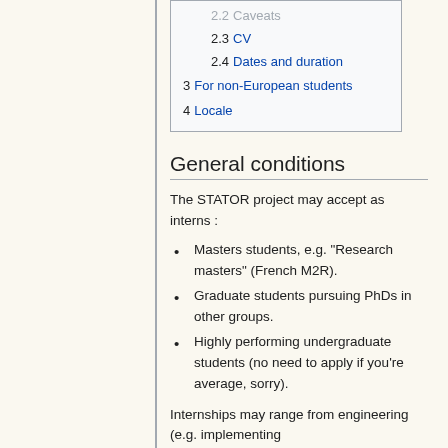2.3 CV
2.4 Dates and duration
3 For non-European students
4 Locale
General conditions
The STATOR project may accept as interns :
Masters students, e.g. "Research masters" (French M2R).
Graduate students pursuing PhDs in other groups.
Highly performing undergraduate students (no need to apply if you're average, sorry).
Internships may range from engineering (e.g. implementing